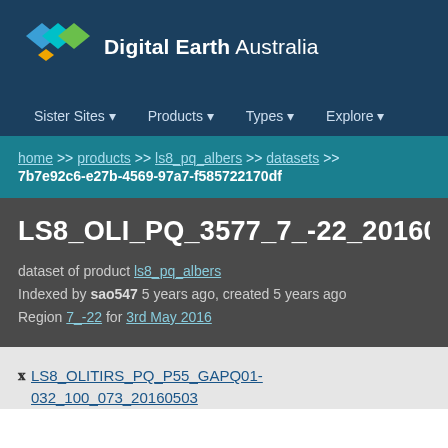[Figure (logo): Digital Earth Australia logo with diamond shapes in blue, cyan, green and orange/yellow, followed by text 'Digital Earth Australia']
Sister Sites ▼   Products ▼   Types ▼   Explore ▼
home >> products >> ls8_pq_albers >> datasets >> 7b7e92c6-e27b-4569-97a7-f585722170df
LS8_OLI_PQ_3577_7_-22_2016050300472
dataset of product ls8_pq_albers
Indexed by sao547 5 years ago, created 5 years ago
Region 7_-22 for 3rd May 2016
LS8_OLITIRS_PQ_P55_GAPQ01-032_100_073_20160503